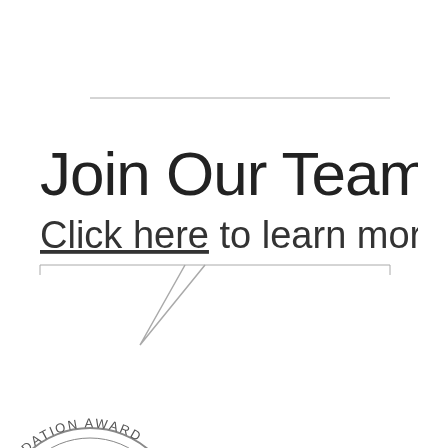[Figure (illustration): Speech bubble graphic with a horizontal line at top, then text 'Join Our Team!' and 'Click here to learn more!' with underline on 'Click here', followed by a speech bubble tail pointing downward drawn with gray lines.]
[Figure (logo): Partially visible circular award seal/medal at the bottom-left corner, showing text 'UNDATION AWARD' along the arc.]